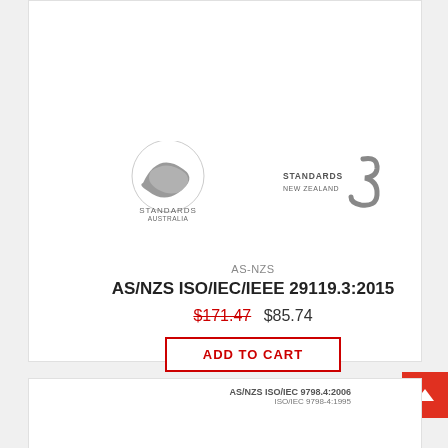[Figure (logo): Standards Australia logo (sphere with swirl graphic and text 'STANDARDS AUSTRALIA')]
[Figure (logo): Standards New Zealand logo (S graphic and text 'STANDARDS NEW ZEALAND')]
AS-NZS
AS/NZS ISO/IEC/IEEE 29119.3:2015
$171.47  $85.74
ADD TO CART
[Figure (screenshot): Partial product card showing AS/NZS ISO/IEC 9798.4:2006 / ISO/IEC 9798-4:1995]